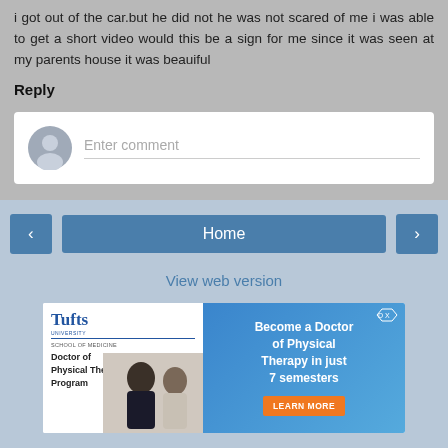i got out of the car.but he did not he was not scared of me i was able to get a short video would this be a sign for me since it was seen at my parents house it was beauiful
Reply
[Figure (screenshot): Comment input box with avatar silhouette and placeholder text 'Enter comment']
[Figure (screenshot): Navigation bar with left arrow button, Home button, right arrow button]
View web version
[Figure (illustration): Tufts University School of Medicine advertisement for Doctor of Physical Therapy Program. Text: Become a Doctor of Physical Therapy in just 7 semesters. LEARN MORE button.]